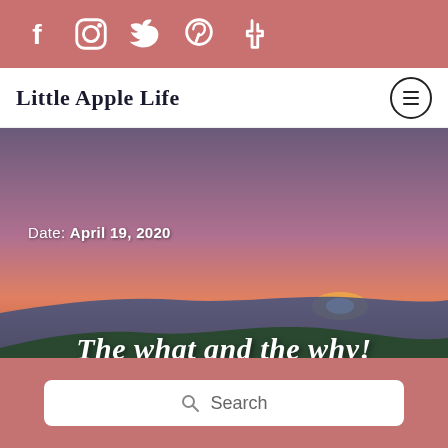Social icons: Facebook, Instagram, Twitter, Pinterest, Tumblr
Little Apple Life
[Figure (photo): Landscape photo of rolling green hills with a sunset sky transitioning from purple/pink to orange at the horizon. Text overlays: 'Date: April 19, 2020' and 'The what and the why!']
Date: April 19, 2020
The what and the why!
Search